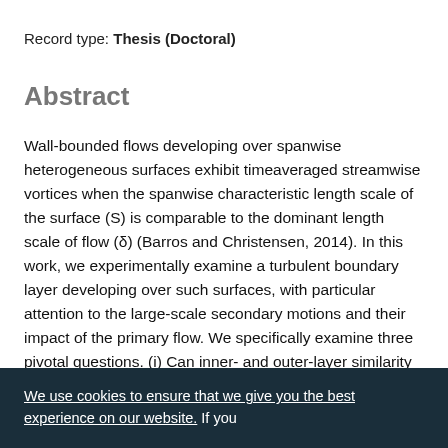Record type: Thesis (Doctoral)
Abstract
Wall-bounded flows developing over spanwise heterogeneous surfaces exhibit timeaveraged streamwise vortices when the spanwise characteristic length scale of the surface (S) is comparable to the dominant length scale of flow (δ) (Barros and Christensen, 2014). In this work, we experimentally examine a turbulent boundary layer developing over such surfaces, with particular attention to the large-scale secondary motions and their impact of the primary flow. We specifically examine three pivotal questions. (i) Can inner- and outer-layer similarity be possible in the presence of secondary flows? (ii) Are
We use cookies to ensure that we give you the best experience on our website. If you